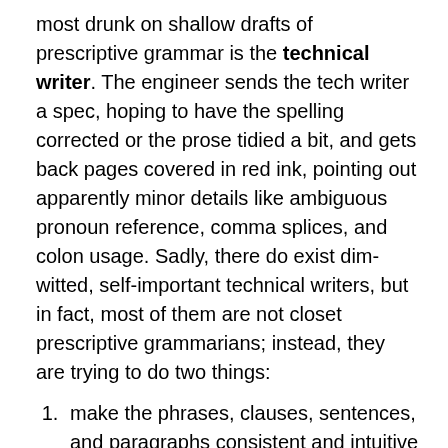most drunk on shallow drafts of prescriptive grammar is the technical writer. The engineer sends the tech writer a spec, hoping to have the spelling corrected or the prose tidied a bit, and gets back pages covered in red ink, pointing out apparently minor details like ambiguous pronoun reference, comma splices, and colon usage. Sadly, there do exist dim-witted, self-important technical writers, but in fact, most of them are not closet prescriptive grammarians; instead, they are trying to do two things:
make the phrases, clauses, sentences, and paragraphs consistent and intuitive in the documentation, just as you try to make the class APIs, GUI components, and interfaces consistent and intuitive in the code; and
bridge the gap between engineers, who know a lot about the application, and users, who know little to